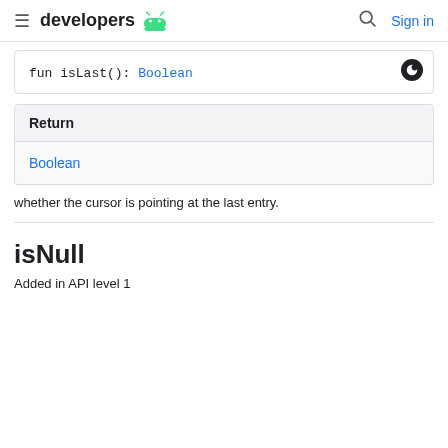developers | Sign in
fun isLast(): Boolean
| Return |
| --- |
| Boolean |
whether the cursor is pointing at the last entry.
isNull
Added in API level 1